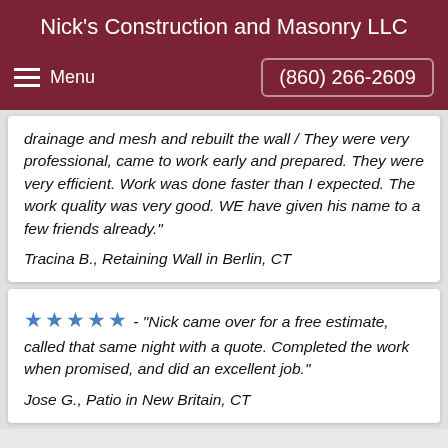Nick's Construction and Masonry LLC
Menu | (860) 266-2609
drainage and mesh and rebuilt the wall / They were very professional, came to work early and prepared. They were very efficient. Work was done faster than I expected. The work quality was very good. WE have given his name to a few friends already."
Tracina B., Retaining Wall in Berlin, CT
★★★★★ - "Nick came over for a free estimate, called that same night with a quote. Completed the work when promised, and did an excellent job."
Jose G., Patio in New Britain, CT